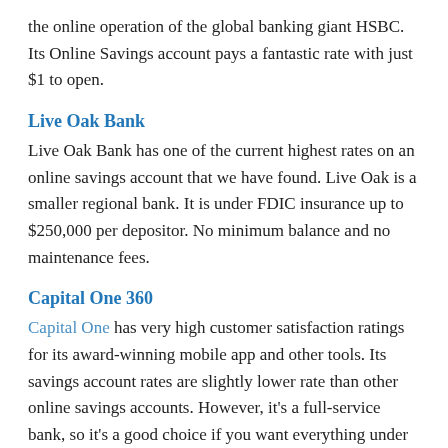the online operation of the global banking giant HSBC. Its Online Savings account pays a fantastic rate with just $1 to open.
Live Oak Bank
Live Oak Bank has one of the current highest rates on an online savings account that we have found. Live Oak is a smaller regional bank. It is under FDIC insurance up to $250,000 per depositor. No minimum balance and no maintenance fees.
Capital One 360
Capital One has very high customer satisfaction ratings for its award-winning mobile app and other tools. Its savings account rates are slightly lower rate than other online savings accounts. However, it's a full-service bank, so it's a good choice if you want everything under one roof. No minimum to open and no maintenance fees. Capital One also has credit cards and auto loans.